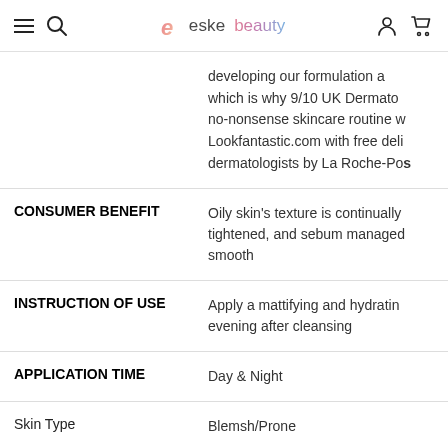eske beauty
developing our formulation and which is why 9/10 UK Dermato no-nonsense skincare routine w Lookfantastic.com with free deli dermatologists by La Roche-Pos
| Attribute | Value |
| --- | --- |
| CONSUMER BENEFIT | Oily skin's texture is continually tightened, and sebum managed smooth |
| INSTRUCTION OF USE | Apply a mattifying and hydrating evening after cleansing |
| APPLICATION TIME | Day & Night |
| Skin Type | Blemsh/Prone |
| Full Ingredients List | AQUA / WATER • GLYCERIN • D |